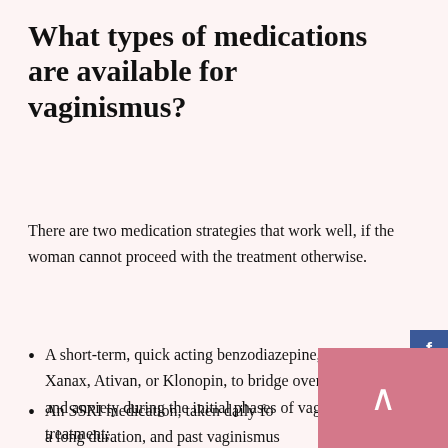What types of medications are available for vaginismus?
There are two medication strategies that work well, if the woman cannot proceed with the treatment otherwise.
A short-term, quick acting benzodiazepine, such as Xanax, Ativan, or Klonopin, to bridge over the fear and anxiety during the initial phases of vaginismus treatment;
An SSRI medication, taken daily for a long duration, and past vaginismus